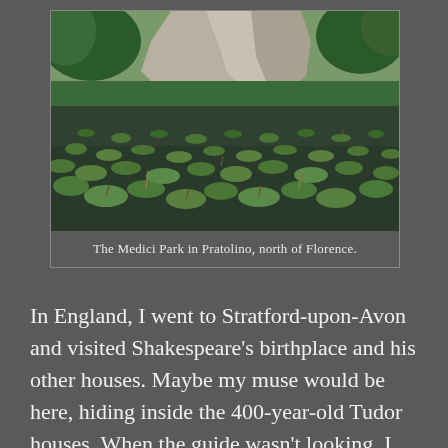[Figure (photo): A pond covered with lily pads in the Medici Park in Pratolino, north of Florence. Rocky cliffs and green trees are visible in the background, reflecting in the still water.]
The Medici Park in Pratolino, north of Florence.
In England, I went to Stratford-upon-Avon and visited Shakespeare’s birthplace and his other houses. Maybe my muse would be here, hiding inside the 400-year-old Tudor houses. When the guide wasn’t looking, I ran my hands along the pockmarked and